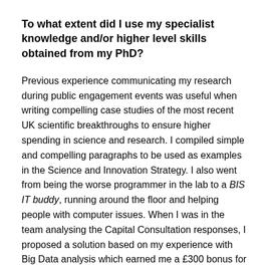To what extent did I use my specialist knowledge and/or higher level skills obtained from my PhD?
Previous experience communicating my research during public engagement events was useful when writing compelling case studies of the most recent UK scientific breakthroughs to ensure higher spending in science and research. I compiled simple and compelling paragraphs to be used as examples in the Science and Innovation Strategy. I also went from being the worse programmer in the lab to a BIS IT buddy, running around the floor and helping people with computer issues. When I was in the team analysing the Capital Consultation responses, I proposed a solution based on my experience with Big Data analysis which earned me a £300 bonus for increasing efficiency!